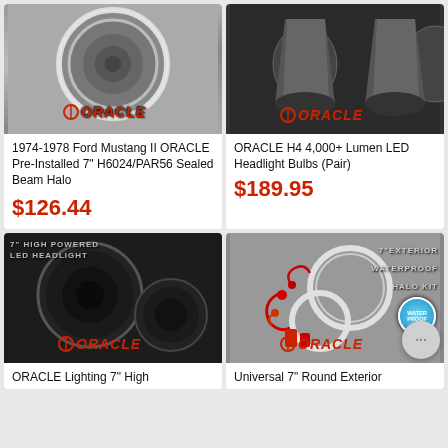[Figure (photo): Round chrome headlight with ORACLE logo branding]
1974-1978 Ford Mustang II ORACLE Pre-Installed 7" H6024/PAR56 Sealed Beam Halo
$126.44
[Figure (photo): LED headlight bulbs pair with ORACLE branding]
ORACLE H4 4,000+ Lumen LED Headlight Bulbs (Pair)
$189.95
[Figure (photo): 7-inch high powered LED headlights pair, black finish, ORACLE branding]
ORACLE Lighting 7" High
[Figure (photo): 7 inch exterior waterproof halo kit with rings and wiring, ORACLE branding]
Universal 7" Round Exterior